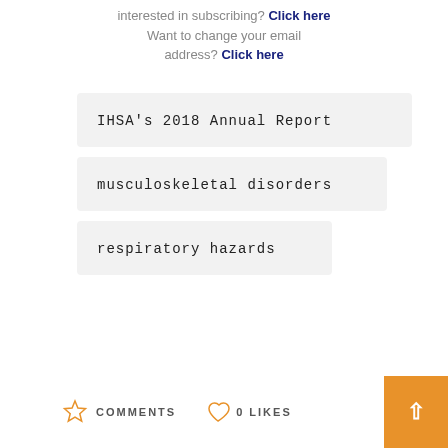Interested in subscribing? Click here
Want to change your email address? Click here
IHSA's 2018 Annual Report
musculoskeletal disorders
respiratory hazards
COMMENTS  0 LIKES